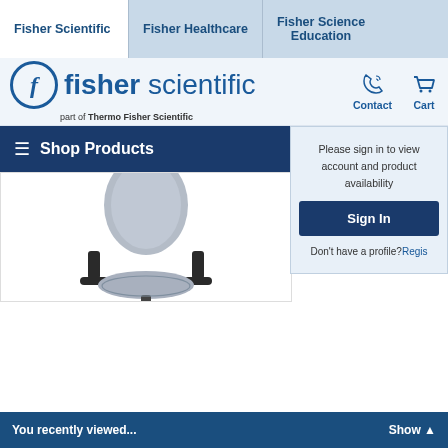Fisher Scientific | Fisher Healthcare | Fisher Science Education
[Figure (logo): Fisher Scientific logo - part of Thermo Fisher Scientific]
Contact
Cart
Shop Products
Please sign in to view account and product availability
Sign In
Don't have a profile? Regis...
[Figure (photo): Gray ergonomic office/lab chair with armrests on white background]
You recently viewed...  Show ▲